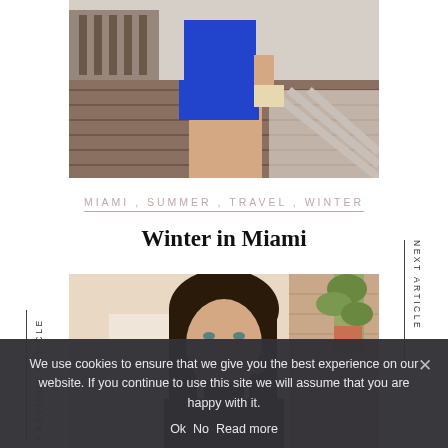[Figure (photo): Partial view of a woman in a blue shorts outfit standing on a wooden deck or pier, cropped at mid-torso level]
MIAMI , SUMMER , TRAVEL , WINTER
Winter in Miami
[Figure (photo): Portrait of a dark-haired woman in a black turtleneck, touching her ear, with a light-colored wall and plant in background]
PREVIOUS ARTICLE
NEXT ARTICLE
We use cookies to ensure that we give you the best experience on our website. If you continue to use this site we will assume that you are happy with it.
Ok   No   Read more